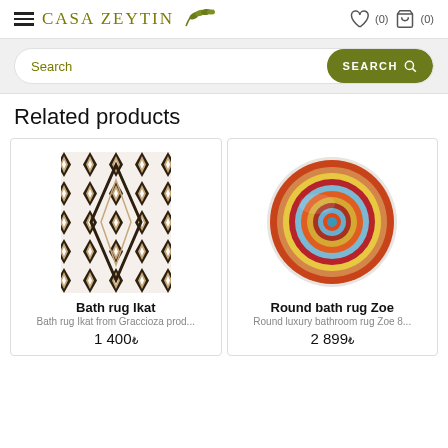Casa Zeytin — (0) (0)
Search
Related products
[Figure (photo): Bath rug Ikat — geometric diamond pattern in dark brown, tan, and white tufted textile]
Bath rug Ikat
Bath rug Ikat from Graccioza prod...
1,400₺
[Figure (photo): Round bath rug Zoe — circular rug with multicolor concentric rings in red, blue, orange, yellow, and white]
Round bath rug Zoe
Round luxury bathroom rug Zoe 8...
2,899₺